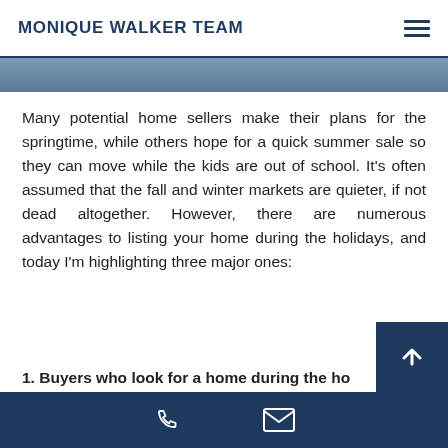MONIQUE WALKER TEAM
[Figure (photo): Partial bottom of a photo showing a person, clipped at top of content area]
Many potential home sellers make their plans for the springtime, while others hope for a quick summer sale so they can move while the kids are out of school. It’s often assumed that the fall and winter markets are quieter, if not dead altogether. However, there are numerous advantages to listing your home during the holidays, and today I’m highlighting three major ones:
1. Buyers who look for a home during the holidays are more serious. If they’re pre-approved and